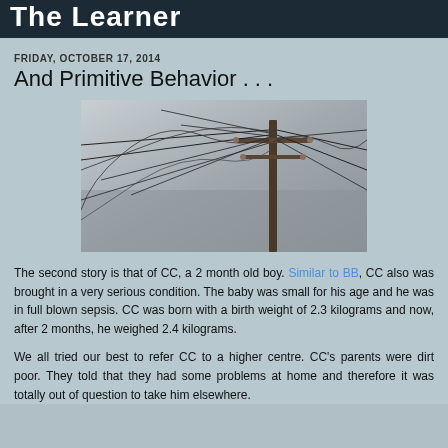The Learner
FRIDAY, OCTOBER 17, 2014
And Primitive Behavior . . .
[Figure (photo): Photograph of a utility pole with many tangled electrical wires spreading outward against a gray sky]
The second story is that of CC, a 2 month old boy. Similar to BB, CC also was brought in a very serious condition. The baby was small for his age and he was in full blown sepsis. CC was born with a birth weight of 2.3 kilograms and now, after 2 months, he weighed 2.4 kilograms.
We all tried our best to refer CC to a higher centre. CC's parents were dirt poor. They told that they had some problems at home and therefore it was totally out of question to take him elsewhere.